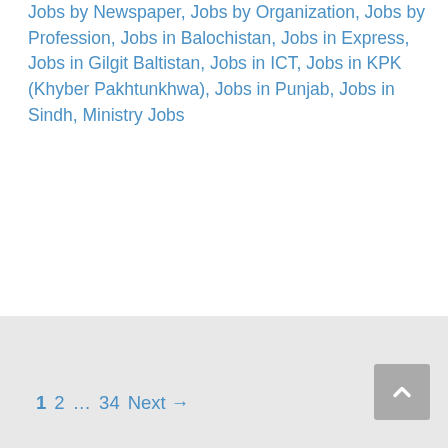Jobs by Newspaper, Jobs by Organization, Jobs by Profession, Jobs in Balochistan, Jobs in Express, Jobs in Gilgit Baltistan, Jobs in ICT, Jobs in KPK (Khyber Pakhtunkhwa), Jobs in Punjab, Jobs in Sindh, Ministry Jobs
🏷 Constable & Other Apply Online, fia latest jobs, Jobs by Industry, Jobs by Newspaper, Jobs by Organization, jobs in fia, Jobs in Lahore, Jobs in Punjab, Jobs in today newspaper, today jobs
💬 Leave a comment
1 2 … 34 Next →